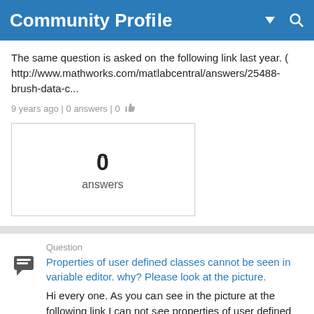Community Profile
The same question is asked on the following link last year. ( http://www.mathworks.com/matlabcentral/answers/25488-brush-data-c...
9 years ago | 0 answers | 0 👍
[Figure (other): Box showing '0 answers']
Question
Properties of user defined classes cannot be seen in variable editor. why? Please look at the picture.
Hi every one. As you can see in the picture at the following link I can not see properties of user defined classes in my workspa...
9 years ago | 2 answers | 2 👍